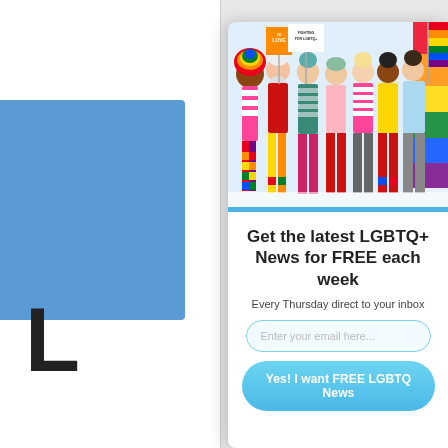[Figure (screenshot): Screenshot of a website page partially visible behind a modal popup. Shows a blue sidebar, large letter L, subscribe text, and a Facebook bar at the bottom.]
[Figure (photo): Photo of diverse group of people in colorful clothing and LGBTQ+ pride accessories, holding rainbow flags and signs saying 'Love' and 'Fighting for Equality'.]
Get the latest LGBTQ+ News for FREE each week
Every Thursday direct to your inbox
Enter your email here...
Yes! I want FREE LGBTQ News